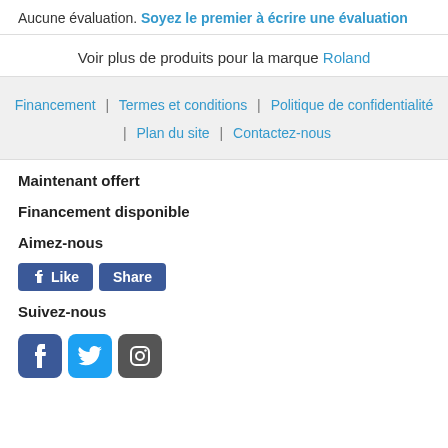Aucune évaluation. Soyez le premier à écrire une évaluation
Voir plus de produits pour la marque Roland
Financement | Termes et conditions | Politique de confidentialité | Plan du site | Contactez-nous
Maintenant offert
Financement disponible
Aimez-nous
[Figure (screenshot): Facebook Like and Share buttons]
Suivez-nous
[Figure (screenshot): Social media icons: Facebook, Twitter, Instagram]